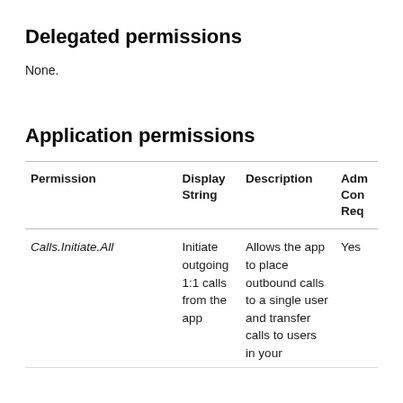Delegated permissions
None.
Application permissions
| Permission | Display String | Description | Adm Con Req |
| --- | --- | --- | --- |
| Calls.Initiate.All | Initiate outgoing 1:1 calls from the app | Allows the app to place outbound calls to a single user and transfer calls to users in your | Yes |